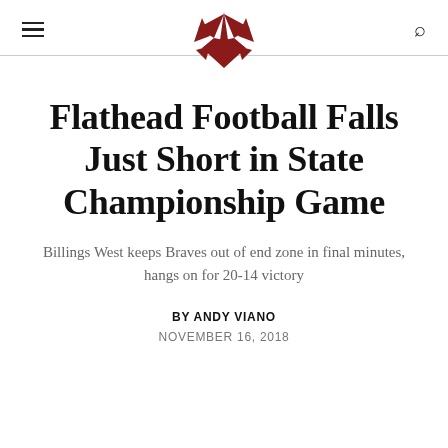Flathead Football Falls Just Short in State Championship Game
Billings West keeps Braves out of end zone in final minutes, hangs on for 20-14 victory
BY ANDY VIANO
NOVEMBER 16, 2018